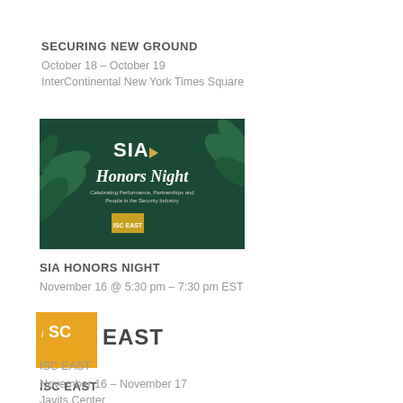SECURING NEW GROUND
October 18 – October 19
InterContinental New York Times Square
[Figure (photo): SIA Honors Night event graphic with dark green tropical leaf background, SIA logo, and text 'Honors Night – Celebrating Performance, Partnerships and People in the Security Industry', with ISC East logo at bottom.]
SIA HONORS NIGHT
November 16 @ 5:30 pm – 7:30 pm EST
[Figure (logo): ISC EAST logo — orange/gold square with 'iSC' text and 'EAST' in dark text beside it.]
ISC EAST
November 16 – November 17
Javits Center